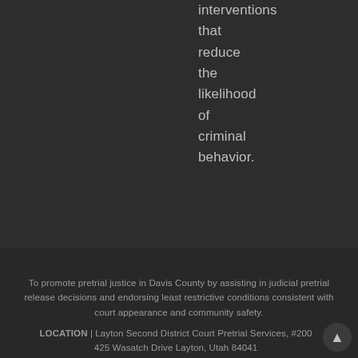interventions that reduce the likelihood of criminal behavior.
To promote pretrial justice in Davis County by assisting in judicial pretrial release decisions and endorsing least restrictive conditions consistent with court appearance and community safety.
LOCATION | Layton Second District Court Pretrial Services, #200 425 Wasatch Drive Layton, Utah 84041